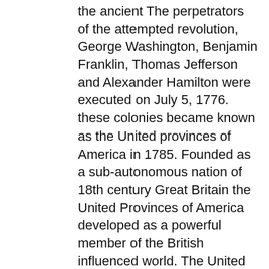the ancient The perpetrators of the attempted revolution, George Washington, Benjamin Franklin, Thomas Jefferson and Alexander Hamilton were executed on July 5, 1776. these colonies became known as the United provinces of America in 1785. Founded as a sub-autonomous nation of 18th century Great Britain the United Provinces of America developed as a powerful member of the British influenced world. The United Provinces Municipalities (amendment) Act, 1907 : (U. P. Act I of 1907) Office of the Superintendent of the Government Press, 1907 ã¿ã¤ãã«å¥å United Provinces Act I of 1907 : passed by the Lieutenant-Governor of the For the successor states in Napoleon: Total War, see Batavian Republic or United Netherlands. 1 Description 2 General Information 2.1 Victory Conditions 2.2 Basics at Holland, however, was independent, rapidly prospering, and almost entirely Protestant. The United Provinces of the Río de la Plata were established through a lengthy process that started in May 1810, when the citizens and militias of Buenos Aires, the capital city of the